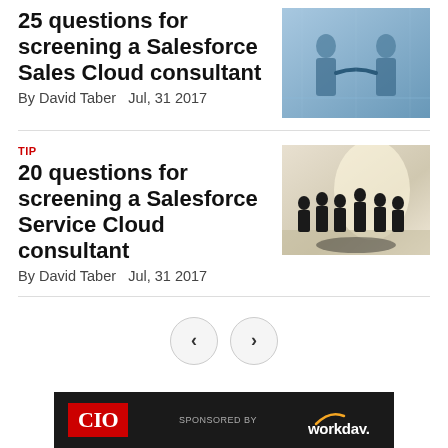25 questions for screening a Salesforce Sales Cloud consultant
By David Taber   Jul, 31 2017
[Figure (photo): Two people shaking hands in a blue-toned office setting]
TIP
20 questions for screening a Salesforce Service Cloud consultant
By David Taber   Jul, 31 2017
[Figure (photo): Silhouettes of people standing in a bright office space]
[Figure (other): CIO logo with red background and Workday sponsored advertisement banner]
[Figure (other): Pagination controls with left and right arrow buttons]